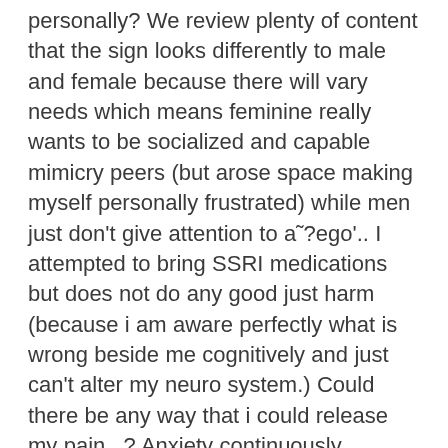personally? We review plenty of content that the sign looks differently to male and female because there will vary needs which means feminine really wants to be socialized and capable mimicry peers (but arose space making myself personally frustrated) while men just don't give attention to a˜?ego'.. I attempted to bring SSRI medications but does not do any good just harm (because i am aware perfectly what is wrong beside me cognitively and just can't alter my neuro system.) Could there be any way that i could release my pain...? Anxiety continuously, awkwardness bt even parents (sth to my home), does not want to go out and hang out but concurrently think excessively isolation whenever being alone (almost planning to get crazy.. worring I may get Schizophrenia..) very first, We resented my father, next, today I would fairly reside like your maybe not observing my self. Men can perform the way the guy would buradaki site like to